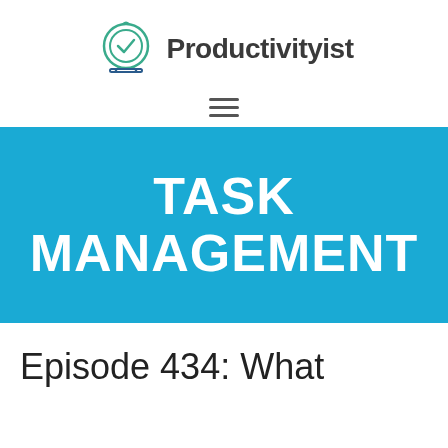[Figure (logo): Productivityist logo: a circular clock/timer icon with a checkmark, in teal/green outline, next to the text 'Productivityist' in bold dark gray]
[Figure (other): Hamburger menu icon — three horizontal lines]
[Figure (other): Blue banner with white bold uppercase text reading TASK MANAGEMENT]
Episode 434: What